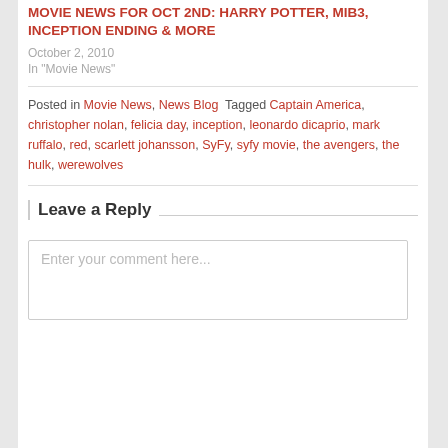MOVIE NEWS FOR OCT 2ND: HARRY POTTER, MIB3, INCEPTION ENDING & MORE
October 2, 2010
In "Movie News"
Posted in Movie News, News Blog  Tagged Captain America, christopher nolan, felicia day, inception, leonardo dicaprio, mark ruffalo, red, scarlett johansson, SyFy, syfy movie, the avengers, the hulk, werewolves
Leave a Reply
Enter your comment here...